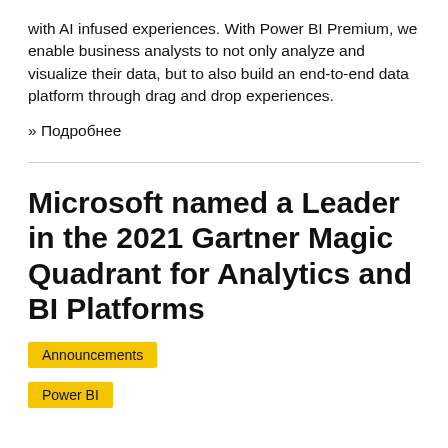with AI infused experiences. With Power BI Premium, we enable business analysts to not only analyze and visualize their data, but to also build an end-to-end data platform through drag and drop experiences.
» Подробнее
Microsoft named a Leader in the 2021 Gartner Magic Quadrant for Analytics and BI Platforms
Announcements
Power BI